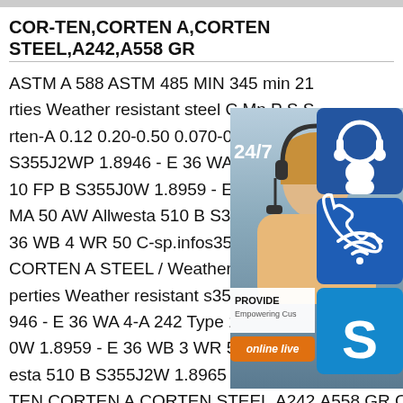COR-TEN,CORTEN A,CORTEN STEEL,A242,A558 GR
ASTM A 588 ASTM 485 MIN 345 min 21 rties Weather resistant steel C Mn P S S rten-A 0.12 0.20-0.50 0.070-0.150 0.030 S355J2WP 1.8946 - E 36 WA 4-A 242 Ty 10 FP B S355J0W 1.8959 - E 36 WB 3 W MA 50 AW Allwesta 510 B S355J2W 1.8 36 WB 4 WR 50 C-sp.infos355j2wp sizes CORTEN A STEEL / Weather resistant s perties Weather resistant s355j2wp sizes S355J2WP 1.8946 - E 36 WA 4-A 242 Type 1 - Allwesta 510 FP B S355J0W 1.8959 - E 36 WB 3 WR 50 B A 588 SMA 50 AW Allwesta 510 B S355J2W 1.8965 WTSt 52-3 E 36 WB 4COR-TEN,CORTEN A,CORTEN STEEL,A242,A558 GR COR-
[Figure (infographic): Customer service overlay with 24/7 label, chat icon, phone icon, Skype icon, PROVIDE / Empowering Customers text, and online live button over a photo of a customer service representative]